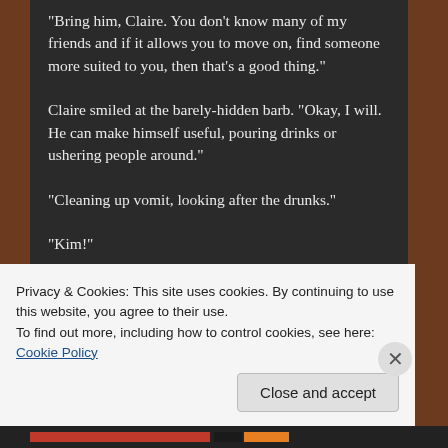"Bring him, Claire. You don't know many of my friends and if it allows you to move on, find someone more suited to you, then that's a good thing."
Claire smiled at the barely-hidden barb. "Okay, I will. He can make himself useful, pouring drinks or ushering people around."
"Cleaning up vomit, looking after the drunks."
"Kim!"
"Sorry." She laughed, and changed to subject to the
Privacy & Cookies: This site uses cookies. By continuing to use this website, you agree to their use.
To find out more, including how to control cookies, see here: Cookie Policy